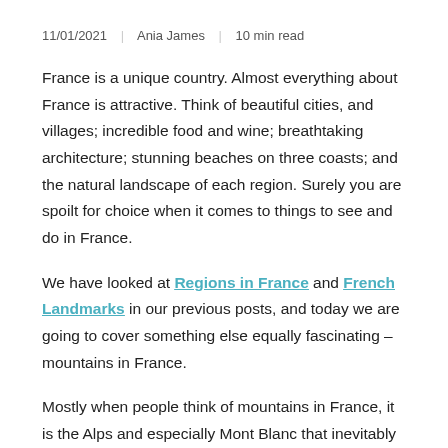11/01/2021 | Ania James | 10 min read
France is a unique country. Almost everything about France is attractive. Think of beautiful cities, and villages; incredible food and wine; breathtaking architecture; stunning beaches on three coasts; and the natural landscape of each region. Surely you are spoilt for choice when it comes to things to see and do in France.
We have looked at Regions in France and French Landmarks in our previous posts, and today we are going to cover something else equally fascinating – mountains in France.
Mostly when people think of mountains in France, it is the Alps and especially Mont Blanc that inevitably cross their minds, but there are seven French mountain ranges, each with its own character and delights.